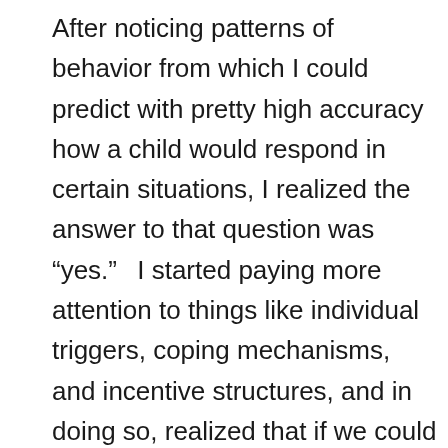After noticing patterns of behavior from which I could predict with pretty high accuracy how a child would respond in certain situations, I realized the answer to that question was “yes.”  I started paying more attention to things like individual triggers, coping mechanisms, and incentive structures, and in doing so, realized that if we could do a better job collecting and keeping track of this information, we could use it in a way that would help us become better, more responsive caregivers to kids with special needs.
For example, one of the things I noticed about a child I cared for was that if she wasn’t able to use her coping mechanism in response to a particular trigger, in this case, her coping...